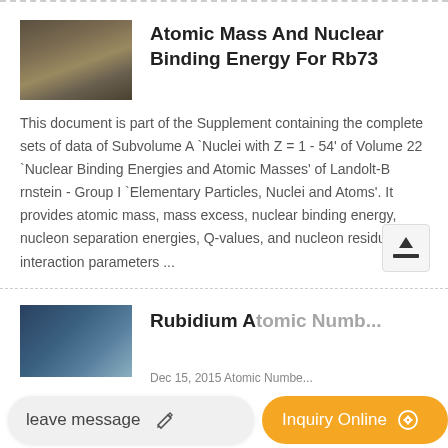Atomic Mass And Nuclear Binding Energy For Rb73
This document is part of the Supplement containing the complete sets of data of Subvolume A `Nuclei with Z = 1 - 54' of Volume 22 `Nuclear Binding Energies and Atomic Masses' of Landolt-B rnstein - Group I `Elementary Particles, Nuclei and Atoms'. It provides atomic mass, mass excess, nuclear binding energy, nucleon separation energies, Q-values, and nucleon residual interaction parameters ...
Rubidium Atomic Numb...
Dec 15, 2015 Atomic Numbe...